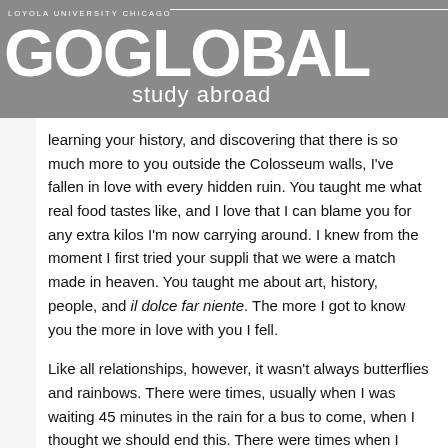LOYOLA UNIVERSITY CHICAGO
GO GLOBAL study abroad
learning your history, and discovering that there is so much more to you outside the Colosseum walls, I've fallen in love with every hidden ruin. You taught me what real food tastes like, and I love that I can blame you for any extra kilos I'm now carrying around. I knew from the moment I first tried your suppli that we were a match made in heaven. You taught me about art, history, people, and il dolce far niente. The more I got to know you the more in love with you I fell.
Like all relationships, however, it wasn't always butterflies and rainbows. There were times, usually when I was waiting 45 minutes in the rain for a bus to come, when I thought we should end this. There were times when I thought that I could live without you. When I was writing a paper at 2am and